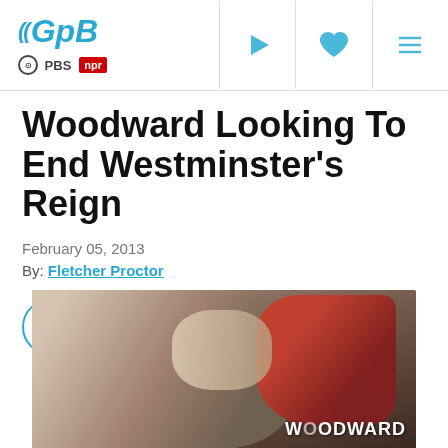GPB | PBS | NPR — Navigation header with play, favorite, and menu icons
Woodward Looking To End Westminster's Reign
February 05, 2013
By: Fletcher Proctor
[Figure (screenshot): Social share buttons: Twitter, Facebook, email/send, and print icons in circular blue-outlined buttons]
[Figure (photo): Sports photo of wrestlers, with one wearing a red Woodward uniform visible at bottom right]